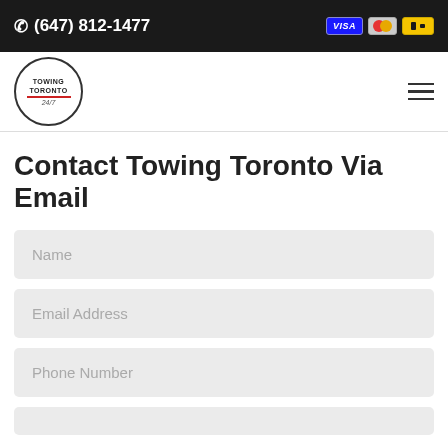☎ (647) 812-1477
[Figure (logo): Towing Toronto 24/7 circular logo]
Contact Towing Toronto Via Email
Name
Email Address
Phone Number